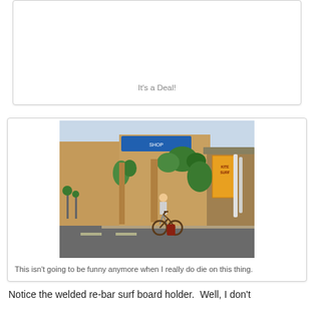It's a Deal!
[Figure (photo): Person on a bicycle in front of shops/storefronts with green plants, blue signage, and surfboard rentals. A colorful street scene in what appears to be a beach town.]
This isn't going to be funny anymore when I really do die on this thing.
Notice the welded re-bar surf board holder. Well, I don't